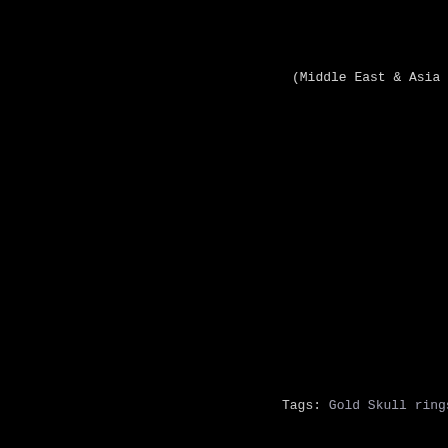(Middle East & Asia order
All Rings, Pendants and Ph
All Into The Fire Jewelry p wr
Tags: Gold Skull rings , Mens Skull